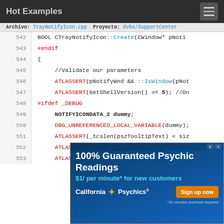Hot Examples
Archivo: TrayNotifyIcon.cpp   Proyecto: dvbs/SupportCenter
[Figure (screenshot): Code viewer showing C++ source lines 542-553 of CTrayNotifyIcon::Create function with syntax highlighting]
[Figure (infographic): Advertisement banner: 100% Guaranteed Psychic Readings $1/per minute* for new customers - California Psychics - Sign up now]